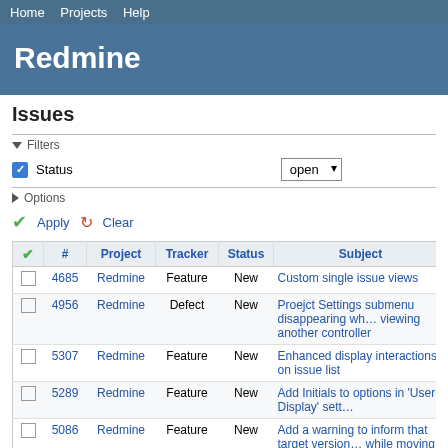Home Projects Help
Redmine
Issues
▼ Filters
Status   open
▶ Options
✔ Apply 🔄 Clear
| ✔ | # | Project | Tracker | Status | Subject |
| --- | --- | --- | --- | --- | --- |
| ☐ | 4685 | Redmine | Feature | New | Custom single issue views |
| ☐ | 4956 | Redmine | Defect | New | Proejct Settings submenu disappearing while viewing another controller |
| ☐ | 5307 | Redmine | Feature | New | Enhanced display interactions on issue list |
| ☐ | 5289 | Redmine | Feature | New | Add Initials to options in 'User Display' sett… |
| ☐ | 5086 | Redmine | Feature | New | Add a warning to inform that target version while moving an issue to another project |
| ☐ | 5556 | Redmine | Patch | New | Display more projects in project jump box |
| ☐ | 5613 | Redmine | Feature | New | More info on user page |
| ☐ | 5645 | Redmine | Feature | New | Show last activity on hover within the issue… |
| ☐ | 5105 | Redmine | Feature | New | Default Tab when going to project |
| ☐ | 57… | Redmine | Feature | New | … |